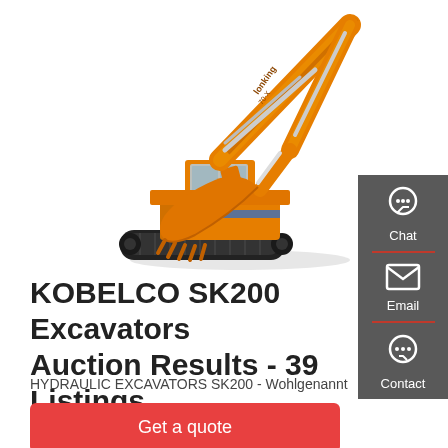[Figure (photo): Orange Lonking hydraulic excavator (similar to Kobelco SK200) on white background, large boom arm extended upward-right, bucket at lower left, tracks visible]
KOBELCO SK200 Excavators Auction Results - 39 Listings
HYDRAULIC EXCAVATORS SK200 - Wohlgenannt
Get a quote